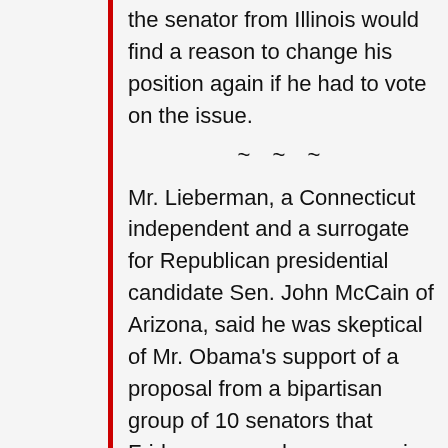the senator from Illinois would find a reason to change his position again if he had to vote on the issue.
~~~
Mr. Lieberman, a Connecticut independent and a surrogate for Republican presidential candidate Sen. John McCain of Arizona, said he was skeptical of Mr. Obama's support of a proposal from a bipartisan group of 10 senators that Friday proposed a compromise energy plan that included drilling in areas currently off limits, renewable energy sources such as wind and solar power and nuclear energy.
“John McCain sees the crisis,” Mr.